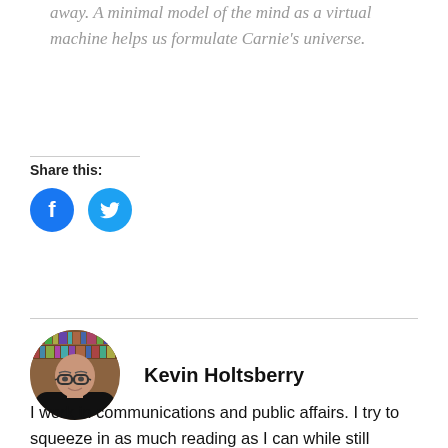away. A minimal model of the mind as a virtual machine helps us formulate Carnie's universe.
Share this:
[Figure (other): Two circular social media share buttons: Facebook (blue circle with white 'f' icon) and Twitter (blue circle with white bird icon)]
[Figure (photo): Circular portrait photo of Kevin Holtsberry, a bald man with glasses wearing a black shirt, with bookshelves in the background]
Kevin Holtsberry
I work in communications and public affairs. I try to squeeze in as much reading as I can while still